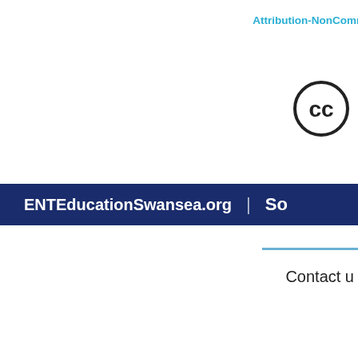Attribution-NonComm
[Figure (logo): Creative Commons CC circle logo]
ENTEducationSwansea.org | So
Contact u